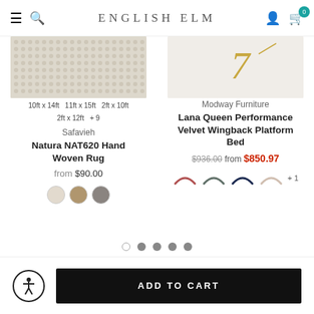ENGLISH ELM
[Figure (screenshot): Partial image of Safavieh Natura NAT620 Hand Woven Rug texture]
10ft x 14ft   11ft x 15ft   2ft x 10ft
2ft x 12ft   + 9
Safavieh
Natura NAT620 Hand Woven Rug
from $90.00
[Figure (screenshot): Partial image of Modway Furniture Lana Queen Performance Velvet Wingback Platform Bed]
Modway Furniture
Lana Queen Performance Velvet Wingback Platform Bed
$936.00 from $850.97
ADD TO CART